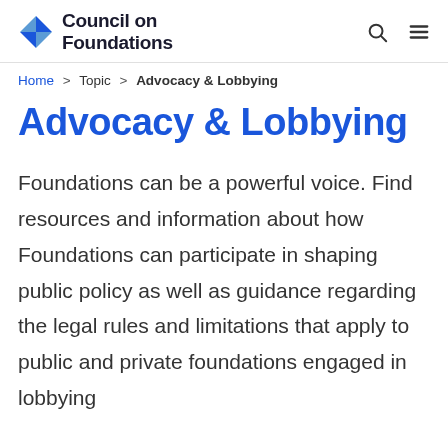Council on Foundations
Home > Topic > Advocacy & Lobbying
Advocacy & Lobbying
Foundations can be a powerful voice. Find resources and information about how Foundations can participate in shaping public policy as well as guidance regarding the legal rules and limitations that apply to public and private foundations engaged in lobbying